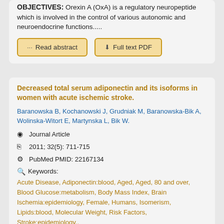OBJECTIVES: Orexin A (OxA) is a regulatory neuropeptide which is involved in the control of various autonomic and neuroendocrine functions.....
Read abstract | Full text PDF
Decreased total serum adiponectin and its isoforms in women with acute ischemic stroke.
Baranowska B, Kochanowski J, Grudniak M, Baranowska-Bik A, Wolinska-Witort E, Martynska L, Bik W.
Journal Article
2011; 32(5): 711-715
PubMed PMID: 22167134
Keywords: Acute Disease, Adiponectin:blood, Aged, Aged, 80 and over, Blood Glucose:metabolism, Body Mass Index, Brain Ischemia:epidemiology, Female, Humans, Isomerism, Lipids:blood, Molecular Weight, Risk Factors, Stroke:epidemiology,.
Citation